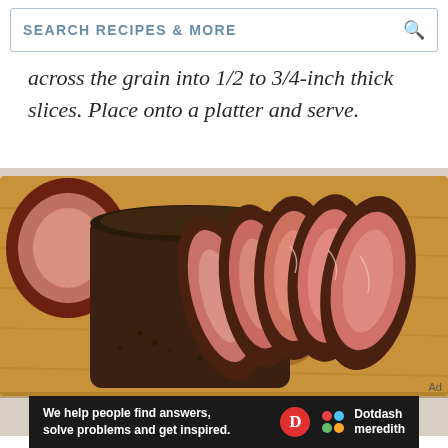SEARCH RECIPES & MORE
across the grain into 1/2 to 3/4-inch thick slices. Place onto a platter and serve.
[Figure (photo): Sliced roast beef on a wooden cutting board, showing pink interior, with herb crust, viewed from above]
Ad
We help people find answers, solve problems and get inspired. Dotdash meredith